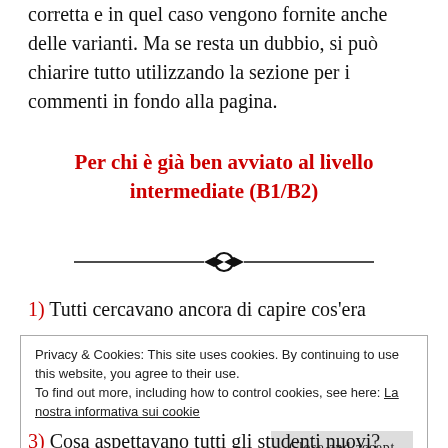corretta e in quel caso vengono fornite anche delle varianti. Ma se resta un dubbio, si può chiarire tutto utilizzando la sezione per i commenti in fondo alla pagina.
Per chi è già ben avviato al livello intermediate (B1/B2)
[Figure (illustration): Decorative divider with diamond-circle-diamond ornament on a horizontal line]
1) Tutti cercavano ancora di capire cos'era
Privacy & Cookies: This site uses cookies. By continuing to use this website, you agree to their use.
To find out more, including how to control cookies, see here: La nostra informativa sui cookie
Close and accept
3) Cosa aspettavano tutti gli studenti nuovi?